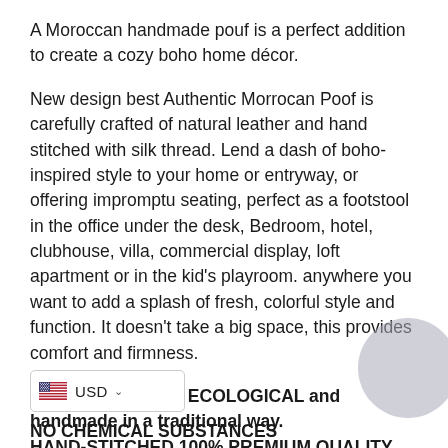A Moroccan handmade pouf is a perfect addition to create a cozy boho home décor.
New design best Authentic Morrocan Poof is carefully crafted of natural leather and hand stitched with silk thread. Lend a dash of boho-inspired style to your home or entryway, or offering impromptu seating, perfect as a footstool in the office under the desk, Bedroom, hotel, clubhouse, villa, commercial display, loft apartment or in the kid's playroom. anywhere you want to add a splash of fresh, colorful style and function. It doesn't take a big space, this provides comfort and firmness.
A PRODUCT 100% ECOLOGICAL and handmade in a traditional way.
HAND-STITCHED 100% PREMIUM QUALITY Genuine leather.
DURABLE COMFORTABLE supported with layer.nomad&fashio
NO CHEMICAL SUBSTANCES